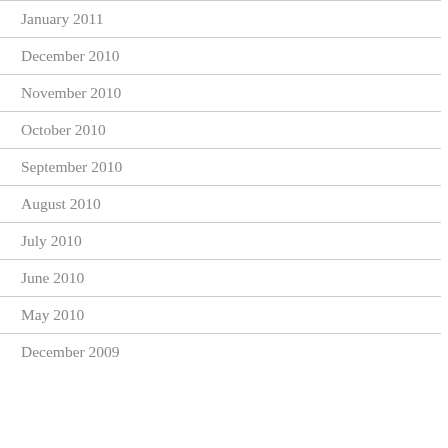January 2011
December 2010
November 2010
October 2010
September 2010
August 2010
July 2010
June 2010
May 2010
December 2009